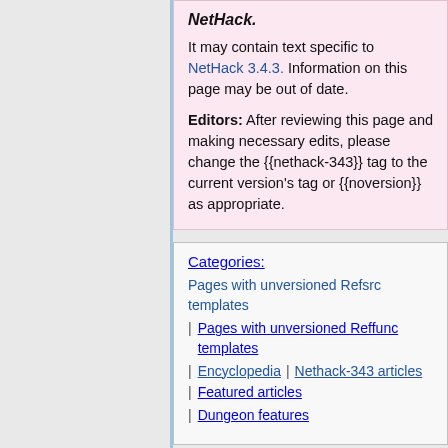NetHack.
It may contain text specific to NetHack 3.4.3. Information on this page may be out of date.
Editors: After reviewing this page and making necessary edits, please change the {{nethack-343}} tag to the current version's tag or {{noversion}} as appropriate.
Categories: Pages with unversioned Refsrc templates | Pages with unversioned Reffunc templates | Encyclopedia | Nethack-343 articles | Featured articles | Dungeon features